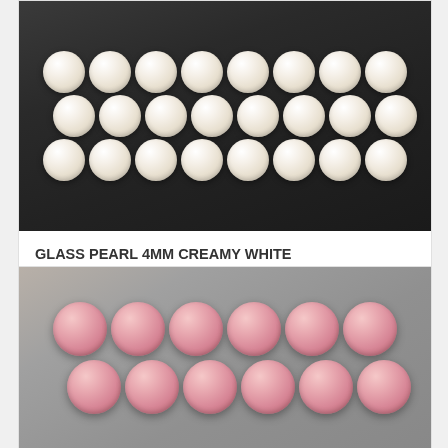[Figure (photo): Close-up photo of strands of creamy white glass pearl beads on a dark background]
GLASS PEARL 4MM CREAMY WHITE HL05
Size: 4mm
Amount: 105pcs
Strand length: 40cm... >
2,00 €
[Figure (photo): Close-up photo of strands of pink glass pearl beads on a concrete background]